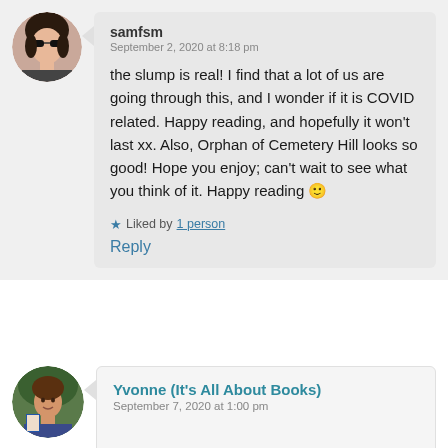samfsm
September 2, 2020 at 8:18 pm
the slump is real! I find that a lot of us are going through this, and I wonder if it is COVID related. Happy reading, and hopefully it won't last xx. Also, Orphan of Cemetery Hill looks so good! Hope you enjoy; can't wait to see what you think of it. Happy reading 🙂
Liked by 1 person
Reply
Yvonne (It's All About Books)
September 7, 2020 at 1:00 pm